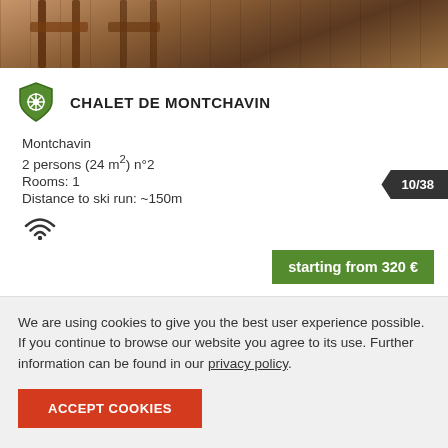[Figure (photo): Photo of wooden chalet interior or exterior with warm brown tones, partially cropped at top]
CHALET DE MONTCHAVIN
Montchavin
2 persons (24 m²) n°2
Rooms: 1
Distance to ski run: ~150m
[Figure (infographic): WiFi icon]
10/38
starting from 320 €
We are using cookies to give you the best user experience possible. If you continue to browse our website you agree to its use. Further information can be found in our privacy policy.
ACCEPT COOKIES